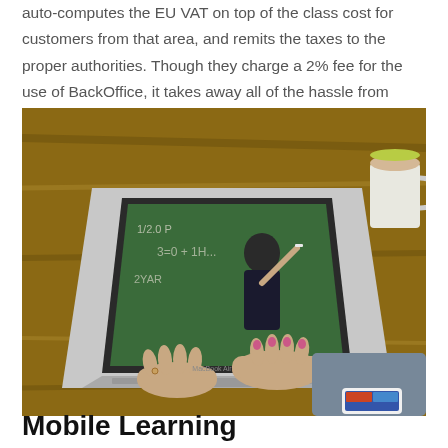auto-computes the EU VAT on top of the class cost for customers from that area, and remits the taxes to the proper authorities. Though they charge a 2% fee for the use of BackOffice, it takes away all of the hassle from doing the admin work manually.
[Figure (photo): A person typing on a MacBook Air laptop showing a video of a teacher writing on a chalkboard. A coffee cup and smartphone are visible on the wooden desk beside the laptop.]
Mobile Learning